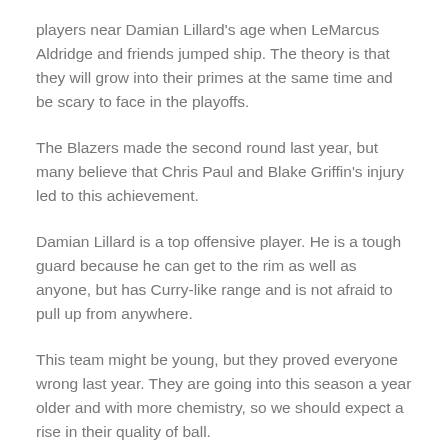players near Damian Lillard's age when LeMarcus Aldridge and friends jumped ship. The theory is that they will grow into their primes at the same time and be scary to face in the playoffs.
The Blazers made the second round last year, but many believe that Chris Paul and Blake Griffin's injury led to this achievement.
Damian Lillard is a top offensive player. He is a tough guard because he can get to the rim as well as anyone, but has Curry-like range and is not afraid to pull up from anywhere.
This team might be young, but they proved everyone wrong last year. They are going into this season a year older and with more chemistry, so we should expect a rise in their quality of ball.
Second tier